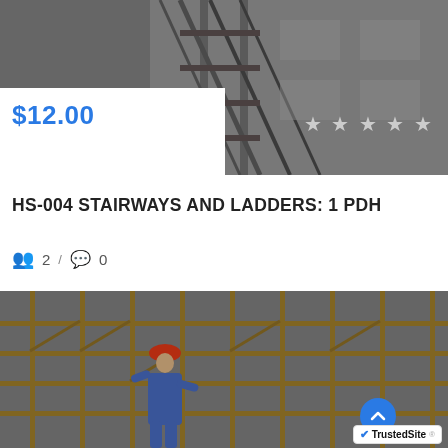[Figure (photo): Top portion of page showing ladders/scaffolding on a building exterior, dark photo with gray tones]
$12.00
★★★★★
HS-004 STAIRWAYS AND LADDERS: 1 PDH
👥 2 / 💬 0
[Figure (photo): Construction workers on metal scaffolding on a building exterior, worker in red hard hat and blue jumpsuit visible in foreground]